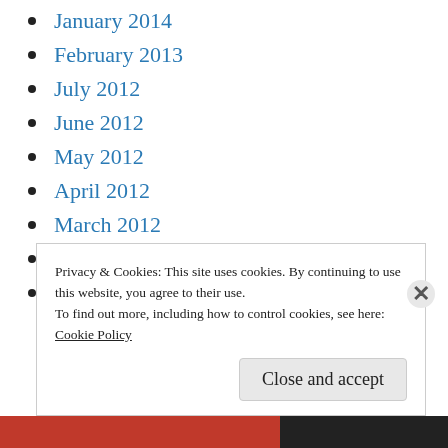January 2014
February 2013
July 2012
June 2012
May 2012
April 2012
March 2012
February 2012
January 2012
Privacy & Cookies: This site uses cookies. By continuing to use this website, you agree to their use.
To find out more, including how to control cookies, see here:
Cookie Policy
Close and accept